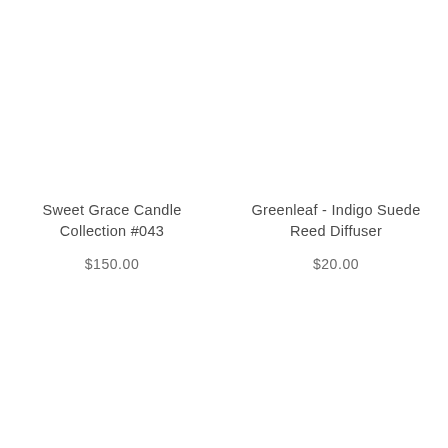Sweet Grace Candle Collection #043
$150.00
Greenleaf - Indigo Suede Reed Diffuser
$20.00